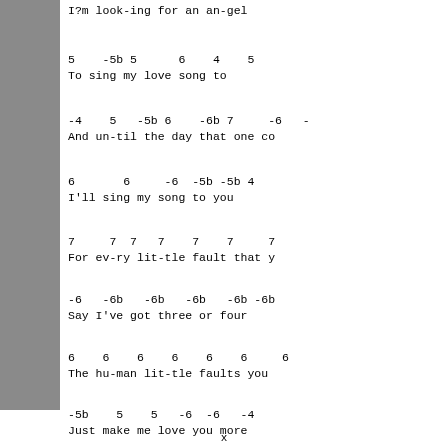[Figure (other): Gray sidebar rectangle on left side]
I�m look-ing for an an-gel
5    -5b 5      6    4    5
To sing my love song to
-4    5   -5b 6    -6b 7     -6   -
And un-til the day that one co
6       6     -6  -5b -5b 4
I'll sing my song to you
7     7  7   7    7    7     7
For ev-ry lit-tle fault that y
-6   -6b   -6b   -6b   -6b -6b
Say I've got three or four
6    6    6    6    6    6     6
The hu-man lit-tle faults you
-5b    5    5   -6  -6   -4
Just make me love you more
x